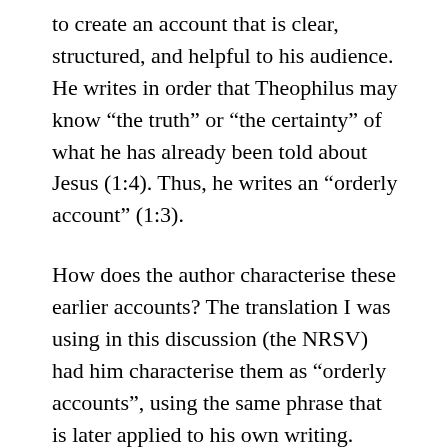to create an account that is clear, structured, and helpful to his audience. He writes in order that Theophilus may know “the truth” or “the certainty” of what he has already been told about Jesus (1:4). Thus, he writes an “orderly account” (1:3).
How does the author characterise these earlier accounts? The translation I was using in this discussion (the NRSV) had him characterise them as “orderly accounts”, using the same phrase that is later applied to his own writing. Luke was not, it would seem, the first to write an orderly account of Jesus. (He may well have been the first to do so about the early church, however; there is no other work comparable to his Acts of the